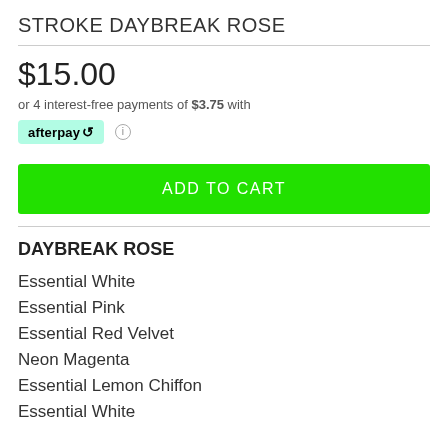STROKE DAYBREAK ROSE
$15.00
or 4 interest-free payments of $3.75 with afterpay
ADD TO CART
DAYBREAK ROSE
Essential White
Essential Pink
Essential Red Velvet
Neon Magenta
Essential Lemon Chiffon
Essential White